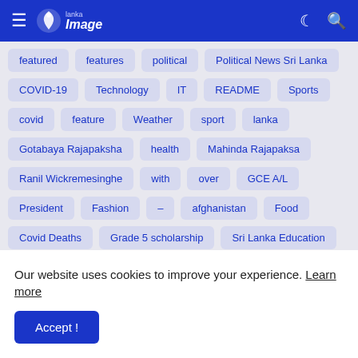Lanka Image navigation bar with hamburger menu, logo, dark mode icon, and search icon
featured
features
political
Political News Sri Lanka
COVID-19
Technology
IT
README
Sports
covid
feature
Weather
sport
lanka
Gotabaya Rajapaksha
health
Mahinda Rajapaksa
Ranil Wickremesinghe
with
over
GCE A/L
President
Fashion
&#8211;
afghanistan
Food
Covid Deaths
Grade 5 scholarship
Sri Lanka Education
Udaya Gammanpila
Weather Forecast
today
Kitchen
Our website uses cookies to improve your experience. Learn more
Accept !